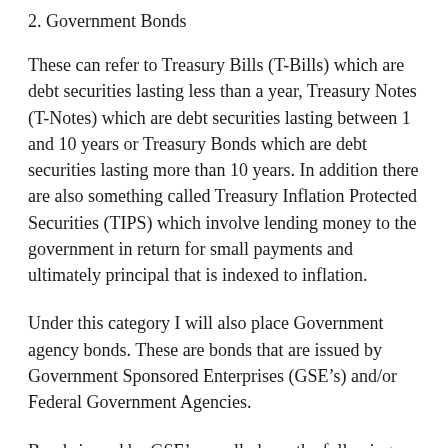2. Government Bonds
These can refer to Treasury Bills (T-Bills) which are debt securities lasting less than a year, Treasury Notes (T-Notes) which are debt securities lasting between 1 and 10 years or Treasury Bonds which are debt securities lasting more than 10 years. In addition there are also something called Treasury Inflation Protected Securities (TIPS) which involve lending money to the government in return for small payments and ultimately principal that is indexed to inflation.
Under this category I will also place Government agency bonds. These are bonds that are issued by Government Sponsored Enterprises (GSE’s) and/or Federal Government Agencies.
Bonds issued by GSE’s usually have the following characteristics: 1) A small return that is slightly higher